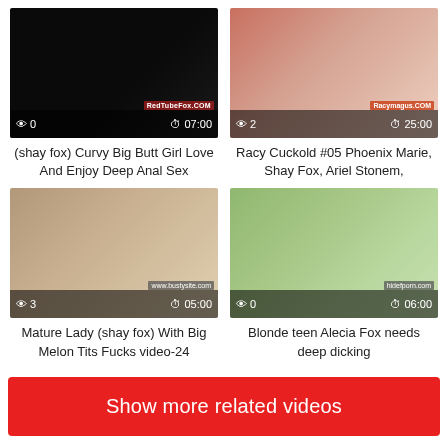[Figure (screenshot): Video thumbnail 1 - dark/black thumbnail with view count 0 and duration 07:00, watermark showing redtubefox.com]
(shay fox) Curvy Big Butt Girl Love And Enjoy Deep Anal Sex
[Figure (screenshot): Video thumbnail 2 - outdoor scene with duration 25:00, view count 2, watermark racymagus.com]
Racy Cuckold #05 Phoenix Marie, Shay Fox, Ariel Stonem,
[Figure (screenshot): Video thumbnail 3 - indoor scene with view count 3 and duration 05:00, watermark bustysite.com]
Mature Lady (shay fox) With Big Melon Tits Fucks video-24
[Figure (screenshot): Video thumbnail 4 - outdoor pool scene with view count 0 and duration 06:00]
Blonde teen Alecia Fox needs deep dicking
Show more related videos